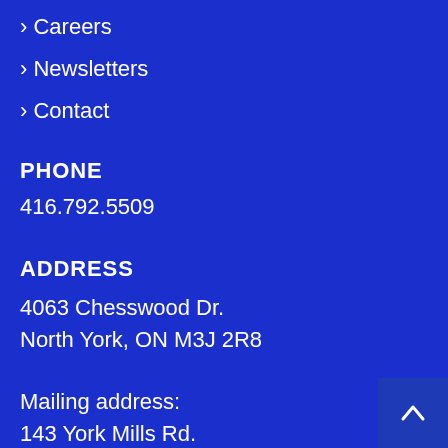> Careers
> Newsletters
> Contact
PHONE
416.792.5509
ADDRESS
4063 Chesswood Dr.
North York, ON M3J 2R8
Mailing address:
143 York Mills Rd.
North York, ON M3L 1K4